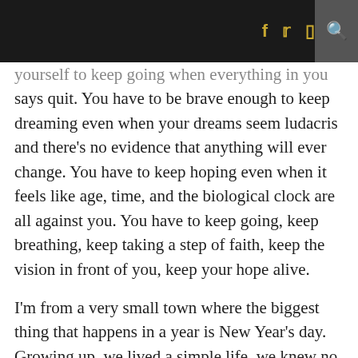[social icons: f, twitter, instagram, search]
yourself to keep going when everything in you says quit. You have to be brave enough to keep dreaming even when your dreams seem ludacris and there’s no evidence that anything will ever change. You have to keep hoping even when it feels like age, time, and the biological clock are all against you. You have to keep going, keep breathing, keep taking a step of faith, keep the vision in front of you, keep your hope alive.

I’m from a very small town where the biggest thing that happens in a year is New Year’s day. Growing up, we lived a simple life, we knew no celebrities- we were lucky to be listed in the phonebook.
Even then, my parents encouraged me to dream